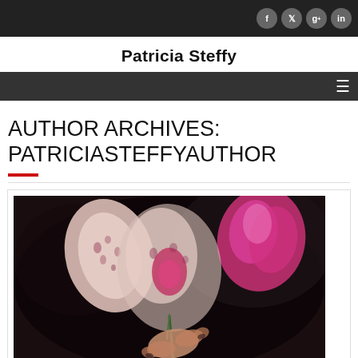Patricia Steffy — site header with social icons (f, twitter, g+, in) and navigation bar
Patricia Steffy
AUTHOR ARCHIVES: PATRICIASTEFFYAUTHOR
[Figure (photo): Close-up photo of orchid flowers being held by a person, pink and white blossoms against a dark background]